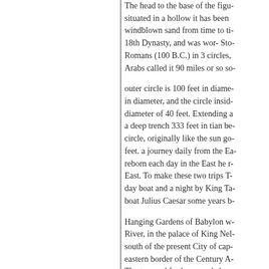The head to the base of the figu- situated in a hollow it has been windblown sand from time to ti- 18th Dynasty, and was wor- Sto- Romans (100 B.C.) in 3 circles, Arabs called it 90 miles or so so-
outer circle is 100 feet in diame- in diameter, and the circle insid- diameter of 40 feet. Extending a a deep trench 333 feet in tian be- circle, originally like the sun go- feet. a journey daily from the Ea- reborn each day in the East he r- East. To make these two trips T- day boat and a night by King Ta- boat Julius Caesar some years b-
Hanging Gardens of Babylon w- River, in the palace of King Nel- south of the present City of cap- eastern border of the Century A- The terraced for horse and char- Colosseum, at Rome, one of the- th ld h d b 388 f